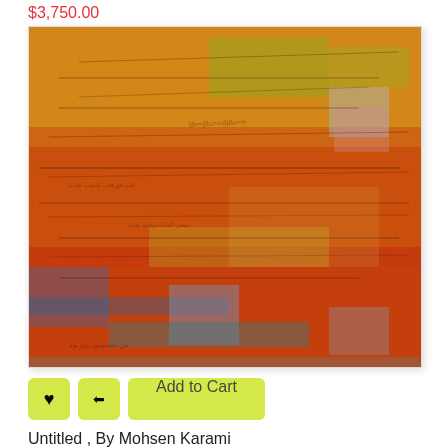$3,750.00
[Figure (illustration): Abstract painting with densely layered text and calligraphy in warm colors — oranges, reds, yellows, greens and blues — with rectangular color patches of blue, pink and purple scattered throughout. The work appears to be mixed media or oil on canvas with overlapping script.]
Add to Cart
Untitled , By Mohsen Karami